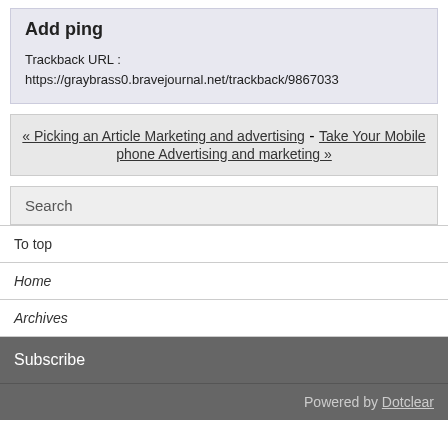Add ping
Trackback URL :
https://graybrass0.bravejournal.net/trackback/9867033
« Picking an Article Marketing and advertising - Take Your Mobile phone Advertising and marketing »
Search
To top
Home
Archives
Subscribe
Powered by Dotclear